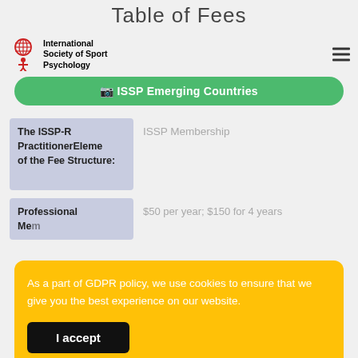Table of Fees
International Society of Sport Psychology
ISSP Emerging Countries
| Element of the Fee Structure: | ISSP Membership |
| --- | --- |
| The ISSP-R PractitionerElement of the Fee Structure: | ISSP Membership |
| Professional Member | $50 per year; $150 for 4 years |
As a part of GDPR policy, we use cookies to ensure that we give you the best experience on our website.
I accept